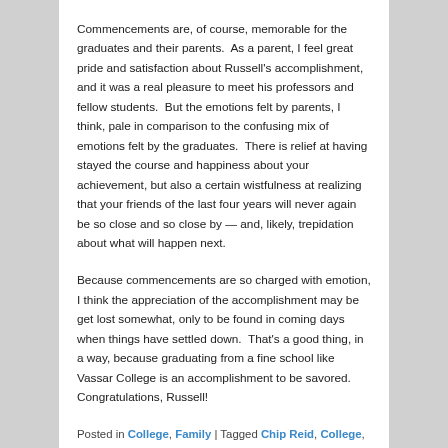Commencements are, of course, memorable for the graduates and their parents.  As a parent, I feel great pride and satisfaction about Russell's accomplishment, and it was a real pleasure to meet his professors and fellow students.  But the emotions felt by parents, I think, pale in comparison to the confusing mix of emotions felt by the graduates.  There is relief at having stayed the course and happiness about your achievement, but also a certain wistfulness at realizing that your friends of the last four years will never again be so close and so close by — and, likely, trepidation about what will happen next.
Because commencements are so charged with emotion, I think the appreciation of the accomplishment may be get lost somewhat, only to be found in coming days when things have settled down.  That's a good thing, in a way, because graduating from a fine school like Vassar College is an accomplishment to be savored.  Congratulations, Russell!
Posted in College, Family | Tagged Chip Reid, College,